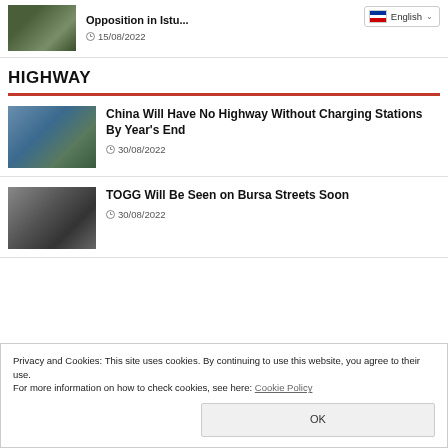[Figure (photo): Thumbnail image of cityscape with greenery]
Opposition in Istar...
15/08/2022
HIGHWAY
[Figure (photo): Thumbnail of highway through mountains/greenery]
China Will Have No Highway Without Charging Stations By Year's End
30/08/2022
[Figure (photo): Thumbnail of TOGG event with people walking]
TOGG Will Be Seen on Bursa Streets Soon
30/08/2022
Privacy and Cookies: This site uses cookies. By continuing to use this website, you agree to their use.
For more information on how to check cookies, see here: Cookie Policy